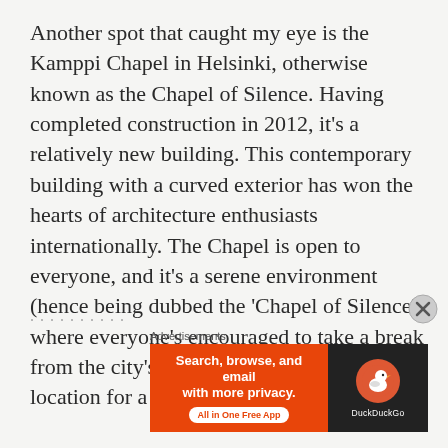Another spot that caught my eye is the Kamppi Chapel in Helsinki, otherwise known as the Chapel of Silence. Having completed construction in 2012, it's a relatively new building. This contemporary building with a curved exterior has won the hearts of architecture enthusiasts internationally. The Chapel is open to everyone, and it's a serene environment (hence being dubbed the 'Chapel of Silence') where everyone's encouraged to take a break from the city's hustle and bustle. It's a lovely location for a spirit recharge.
Advertisements
[Figure (other): DuckDuckGo advertisement banner with orange left panel reading 'Search, browse, and email with more privacy. All in One Free App' and dark right panel with DuckDuckGo logo]